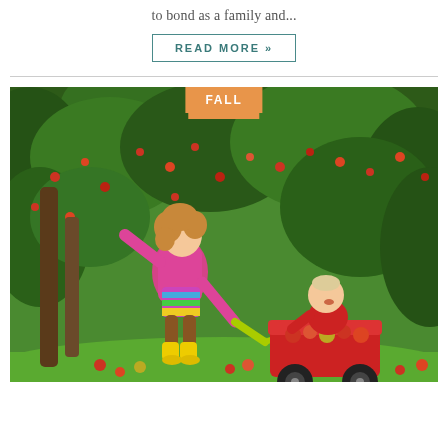to bond as a family and...
READ MORE »
[Figure (photo): Two young children in an apple orchard. A toddler girl in a pink cardigan and rainbow dress with yellow rain boots pulls a red wagon containing a baby dressed in red. The baby sits surrounded by apples in the wagon. Green apple trees with red apples are visible in the background. An orange badge labeled 'FALL' appears at the top center of the image.]